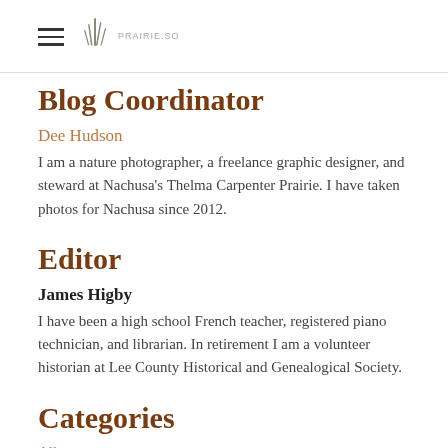Prairie.so [logo]
Blog Coordinator
Dee Hudson
I am a nature photographer, a freelance graphic designer, and steward at Nachusa's Thelma Carpenter Prairie. I have taken photos for Nachusa since 2012.
Editor
James Higby
I have been a high school French teacher, registered piano technician, and librarian. In retirement I am a volunteer historian at Lee County Historical and Genealogical Society.
Categories
All
Autumn
Bison